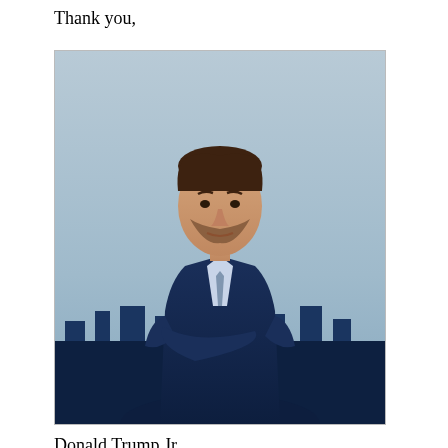Thank you,
[Figure (photo): Photograph of Donald Trump Jr. in a dark navy suit with arms crossed, cityscape in background]
Donald Trump Jr.
CONTRIBUTE NOW >>
**NO PURCHASE, PAYMENT, CONTRIBUTION, OR TEXT MESSAGE NECESSARY TO ENTER OR WIN.** Contributing or sending a text message will not improve your chances of winning. Void where prohibited. You may enter by contributing to Save America JFC by clicking here. Alternatively by